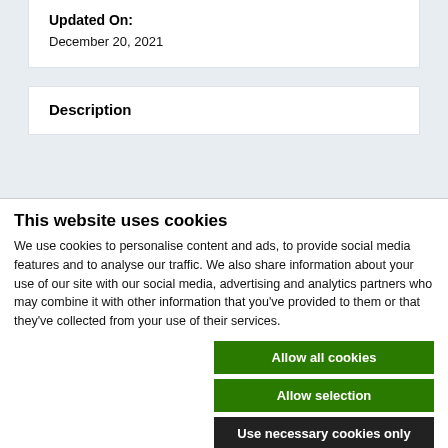Updated On:
December 20, 2021
Description
This website uses cookies
We use cookies to personalise content and ads, to provide social media features and to analyse our traffic. We also share information about your use of our site with our social media, advertising and analytics partners who may combine it with other information that you've provided to them or that they've collected from your use of their services.
Allow all cookies
Allow selection
Use necessary cookies only
Necessary  Preferences  Statistics  Marketing  Show details